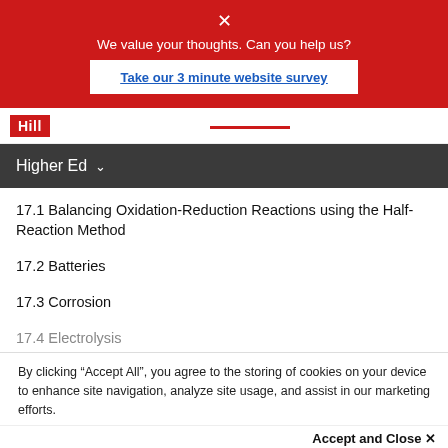[Figure (screenshot): Red survey banner with close X, tagline 'We value your thoughts. Can you help us?' and a white button 'Take our 3 minute website survey']
Hill
Higher Ed
17.1 Balancing Oxidation-Reduction Reactions using the Half-Reaction Method
17.2 Batteries
17.3 Corrosion
17.4 Electrolysis
By clicking “Accept All”, you agree to the storing of cookies on your device to enhance site navigation, analyze site usage, and assist in our marketing efforts.
Accept and Close ×
Your browser settings do not allow cross-site tracking for advertising. Click on this page to allow AdRoll to use cross-site tracking to tailor ads to you. Learn more or opt out of this AdRoll tracking by clicking here. This message only appears once.